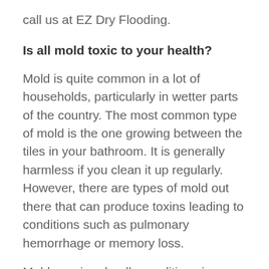call us at EZ Dry Flooding.
Is all mold toxic to your health?
Mold is quite common in a lot of households, particularly in wetter parts of the country. The most common type of mold is the one growing between the tiles in your bathroom. It is generally harmless if you clean it up regularly. However, there are types of mold out there that can produce toxins leading to conditions such as pulmonary hemorrhage or memory loss.
Mold causing deadly conditions is a rare occurrence. However, the mold present in the air can still cause problems for people